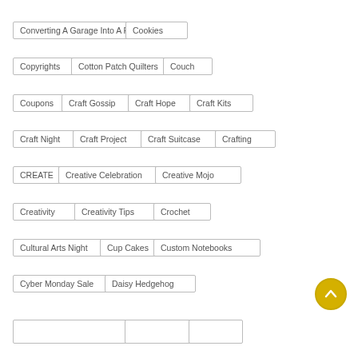Converting A Garage Into A Room
Cookies
Copyrights
Cotton Patch Quilters
Couch
Coupons
Craft Gossip
Craft Hope
Craft Kits
Craft Night
Craft Project
Craft Suitcase
Crafting
CREATE
Creative Celebration
Creative Mojo
Creativity
Creativity Tips
Crochet
Cultural Arts Night
Cup Cakes
Custom Notebooks
Cyber Monday Sale
Daisy Hedgehog